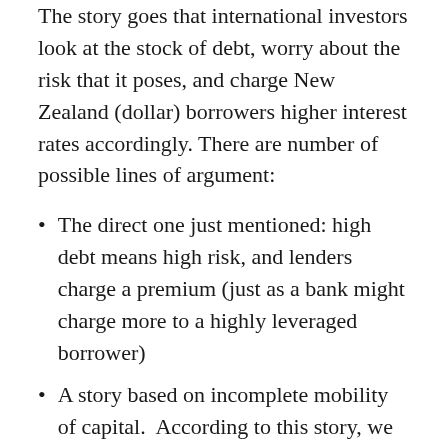The story goes that international investors look at the stock of debt, worry about the risk that it poses, and charge New Zealand (dollar) borrowers higher interest rates accordingly. There are number of possible lines of argument:
The direct one just mentioned: high debt means high risk, and lenders charge a premium (just as a bank might charge more to a highly leveraged borrower)
A story based on incomplete mobility of capital.  According to this story, we can borrow a great deal of money at “the world interest rate”, but our high NIIP means we run up against the limits of the number of investors who might be interested in